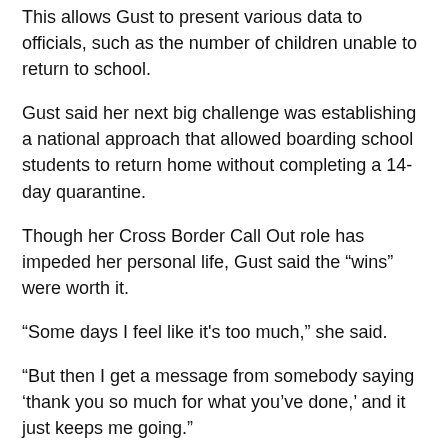This allows Gust to present various data to officials, such as the number of children unable to return to school.
Gust said her next big challenge was establishing a national approach that allowed boarding school students to return home without completing a 14-day quarantine.
Though her Cross Border Call Out role has impeded her personal life, Gust said the “wins” were worth it.
“Some days I feel like it’s too much,” she said.
“But then I get a message from somebody saying ‘thank you so much for what you’ve done,’ and it just keeps me going.”
Moving forward, Gust said she would like the State Government to appoint a cross-border commissioner, but thinks it unlikely.